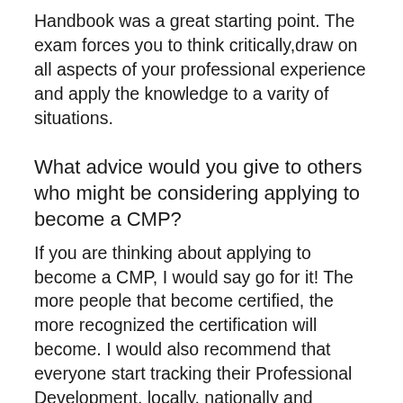Handbook was a great starting point. The exam forces you to think critically,draw on all aspects of your professional experience and apply the knowledge to a varity of situations.
What advice would you give to others who might be considering applying to become a CMP?
If you are thinking about applying to become a CMP, I would say go for it! The more people that become certified, the more recognized the certification will become. I would also recommend that everyone start tracking their Professional Development, locally, nationally and internationally. It is important